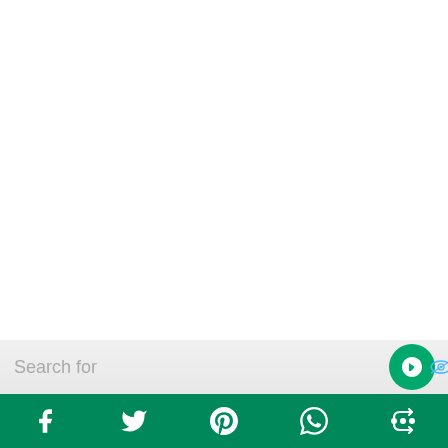[Figure (screenshot): White blank area taking up most of the page]
Search for
[Figure (infographic): Social sharing bar with Facebook, Twitter, Pinterest, WhatsApp, and a share icon on a green background]